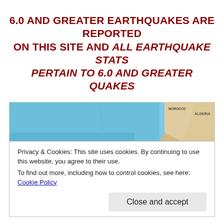6.0 AND GREATER EARTHQUAKES ARE REPORTED ON THIS SITE AND ALL EARTHQUAKE STATS PERTAIN TO 6.0 AND GREATER QUAKES
[Figure (map): World map showing the Atlantic Ocean region with parts of West Africa (Morocco, Algeria, Mauritania, Mali, Niger, Senegal, Guinea, Côte d'Ivoire, Ghana, Nigeria) and South America coastline visible. Ocean shown in blue, land in beige/tan with country borders.]
Privacy & Cookies: This site uses cookies. By continuing to use this website, you agree to their use.
To find out more, including how to control cookies, see here: Cookie Policy